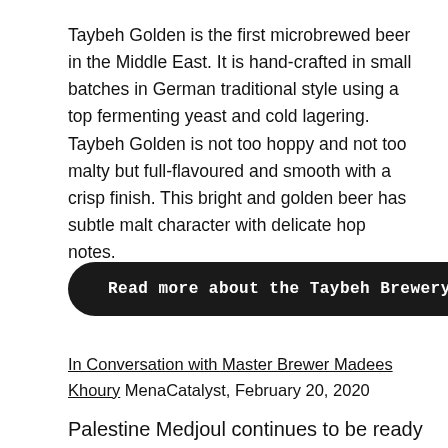Taybeh Golden is the first microbrewed beer in the Middle East. It is hand-crafted in small batches in German traditional style using a top fermenting yeast and cold lagering. Taybeh Golden is not too hoppy and not too malty but full-flavoured and smooth with a crisp finish. This bright and golden beer has subtle malt character with delicate hop notes.
Read more about the Taybeh Brewery
In Conversation with Master Brewer Madees Khoury MenaCatalyst, February 20, 2020
Palestine Medjoul continues to be ready